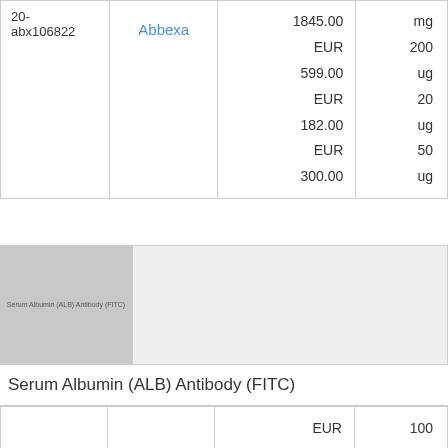| ID | Vendor | Price | Unit |
| --- | --- | --- | --- |
| 20-abx106822 | Abbexa | 1845.00 EUR
599.00 EUR
182.00 EUR
300.00 | mg
200
ug
20
ug
50
ug |
[Figure (photo): Serum Albumin (ALB) Antibody (FITC) product image placeholder in gray]
Serum Albumin (ALB) Antibody (FITC)
| ID | Vendor | Price | Unit |
| --- | --- | --- | --- |
|  |  | EUR
414.00 | 100 |